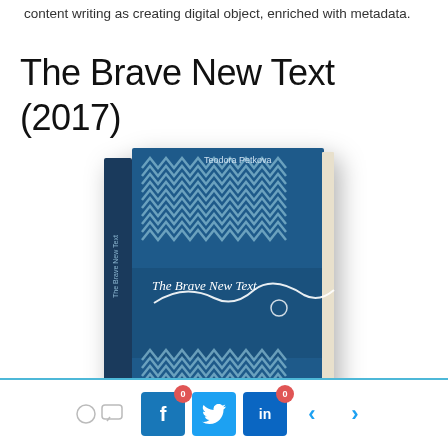content writing as creating digital object, enriched with metadata.
The Brave New Text (2017)
[Figure (photo): 3D rendered book cover of 'The Brave New Text' by Teodora Petkova, featuring a blue knitted-pattern design with white yarn line detail and the book title in white text.]
0 comments | Facebook share (0) | Twitter share | LinkedIn share (0) | prev | next